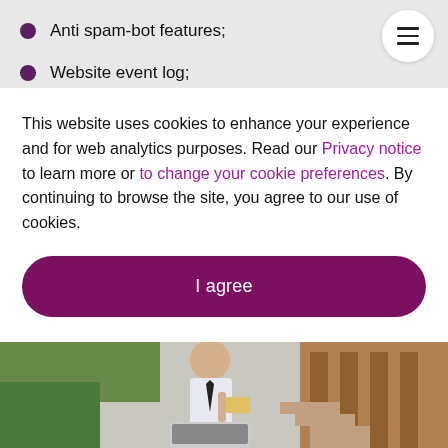Anti spam-bot features;
Website event log;
This website uses cookies to enhance your experience and for web analytics purposes. Read our Privacy notice to learn more or to change your cookie preferences. By continuing to browse the site, you agree to our use of cookies.
[Figure (photo): A man in business attire sitting outdoors with a laptop, holding a credit card, with greenery and wooden structures in the background.]